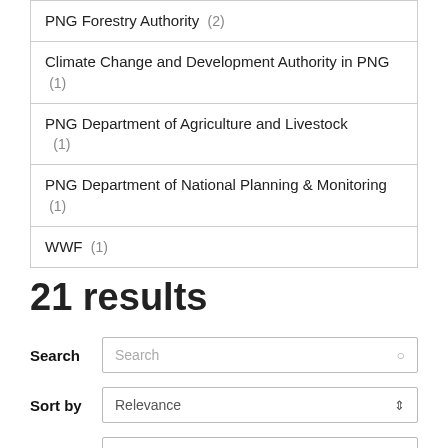| PNG Forestry Authority (2) |
| Climate Change and Development Authority in PNG (1) |
| PNG Department of Agriculture and Livestock (1) |
| PNG Department of National Planning & Monitoring (1) |
| WWF (1) |
21 results
Search
Sort by Relevance
Order Desc